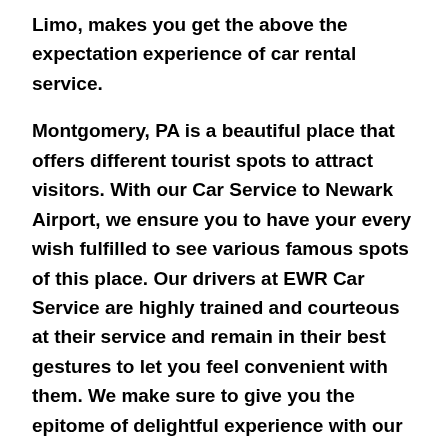Limo, makes you get the above the expectation experience of car rental service.
Montgomery, PA is a beautiful place that offers different tourist spots to attract visitors. With our Car Service to Newark Airport, we ensure you to have your every wish fulfilled to see various famous spots of this place. Our drivers at EWR Car Service are highly trained and courteous at their service and remain in their best gestures to let you feel convenient with them. We make sure to give you the epitome of delightful experience with our Car Service Newark Airport.
Whether your arrival to Montgomery, PA is due to some for the other reason or visit for the great tourist